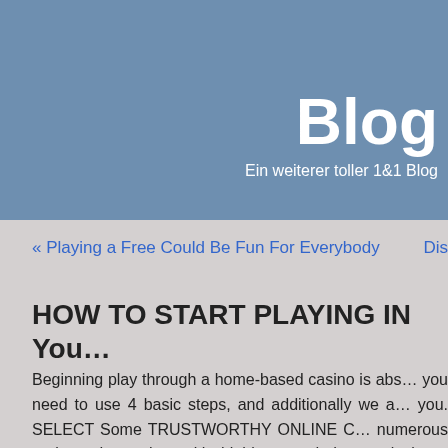Blog
Ein weiterer toller 1&1 Blog
« Playing a Free Could Be Fun For Everybody    Dis…
HOW TO START PLAYING IN You…
Beginning play through a home-based casino is abs… you need to use 4 basic steps, and additionally we a… you. SELECT Some TRUSTWORTHY ONLINE C… numerous registered together with highly regarded… particular a majority of these based upon some of o… the expertise of various players. Those gambling…